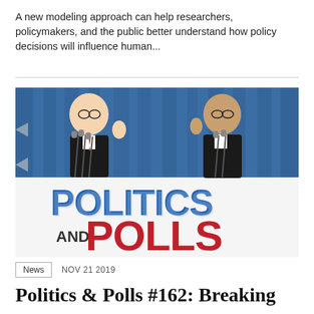A new modeling approach can help researchers, policymakers, and the public better understand how policy decisions will influence human...
[Figure (photo): Politics and Polls podcast cover image showing two men in suits at microphones with blue curtain background, with bold text 'POLITICS AND POLLS' — POLITICS in blue, AND in small dark text, POLLS in red]
News   NOV 21 2019
Politics & Polls #162: Breaking